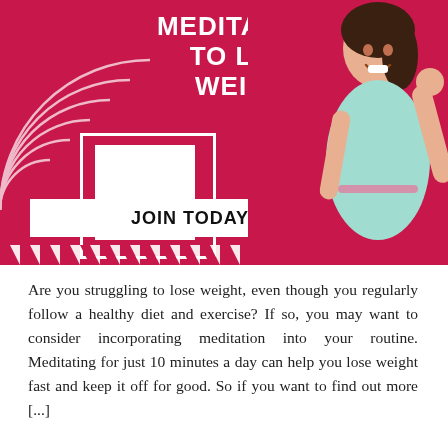[Figure (illustration): Promotional banner with crimson/pink background featuring bold white title text 'MEDITATIONS TO LOSE WEIGHT', decorative white concentric arc shapes, a white square placeholder box, a 'JOIN TODAY' call-to-action bar, diagonal stripe border, and a photo of a smiling Asian woman in a light blue top holding a measuring tape and giving a thumbs up.]
Are you struggling to lose weight, even though you regularly follow a healthy diet and exercise? If so, you may want to consider incorporating meditation into your routine. Meditating for just 10 minutes a day can help you lose weight fast and keep it off for good. So if you want to find out more [...]